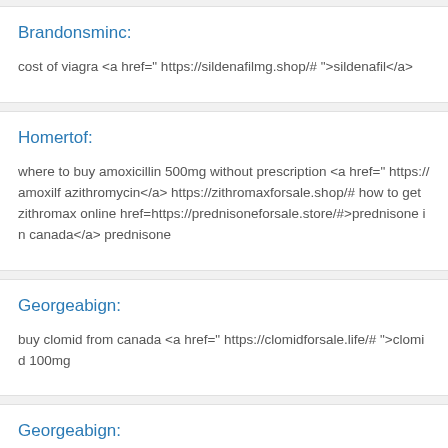Brandonsminc:
cost of viagra <a href=" https://sildenafilmg.shop/# ">sildenafil</a>
Homertof:
where to buy amoxicillin 500mg without prescription <a href=" https://amoxilf... azithromycin</a> https://zithromaxforsale.shop/# how to get zithromax online href=https://prednisoneforsale.store/#>prednisone in canada</a> prednisone
Georgeabign:
buy clomid from canada <a href=" https://clomidforsale.life/# ">clomid 100mg
Georgeabign: